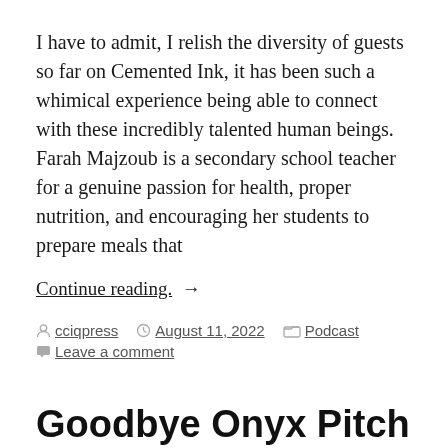I have to admit, I relish the diversity of guests so far on Cemented Ink, it has been such a whimical experience being able to connect with these incredibly talented human beings. Farah Majzoub is a secondary school teacher for a genuine passion for health, proper nutrition, and encouraging her students to prepare meals that
Continue reading. →
By cciqpress  August 11, 2022  Podcast  Leave a comment
Goodbye Onyx Pitch
Where I'm going you CANNOT follow for my truest form